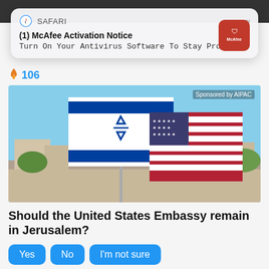[Figure (screenshot): Safari browser notification popup: '(1) McAfee Activation Notice — Turn On Your Antivirus Software To Stay Protected' with McAfee red icon on right]
🔥 106
[Figure (photo): Photo of Israeli flag and American flag flying side by side with text 'Sponsored by AIPAC' in top right]
Should the United States Embassy remain in Jerusalem?
Yes  No  I'm not sure